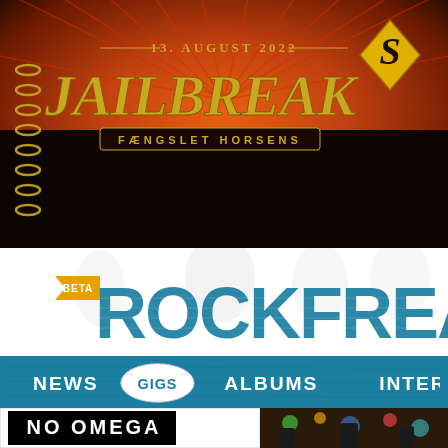[Figure (illustration): Jailbreak festival poster showing stylized text 'JAILBREAK' with date '13. AUGUST 2022' and subtitle 'FÆNGSLET HORSENS', on an orange and black dramatic background with radiating lines. A partial golden diamond logo visible on the right side.]
[Figure (logo): Rockfreak website logo with 'BETA' badge on golden banner, large blue grunge-textured text 'ROCKFREA' (partially visible), on white background with ghost/faded figure silhouettes.]
[Figure (screenshot): Navigation bar on blue/teal background with menu items: NEWS, GIGS (in a circular badge), ALBUMS, INTER (partially visible)]
[Figure (photo): Bottom strip showing 'NO OMEGA' text in white on black box, with a colorful concert photo visible on the right side.]